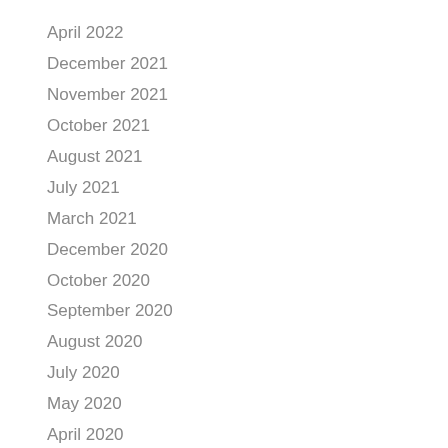April 2022
December 2021
November 2021
October 2021
August 2021
July 2021
March 2021
December 2020
October 2020
September 2020
August 2020
July 2020
May 2020
April 2020
March 2020